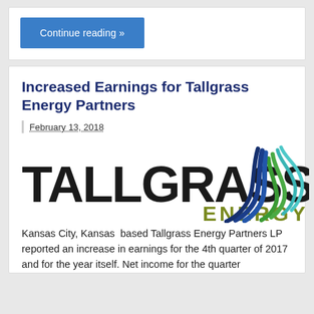Continue reading »
Increased Earnings for Tallgrass Energy Partners
February 13, 2018
[Figure (logo): Tallgrass Energy logo with stylized flame/grass graphic in blue, green, and teal, with 'TALLGRASS' in large black letters and 'ENERGY' in olive/dark yellow letters]
Kansas City, Kansas  based Tallgrass Energy Partners LP reported an increase in earnings for the 4th quarter of 2017 and for the year itself. Net income for the quarter